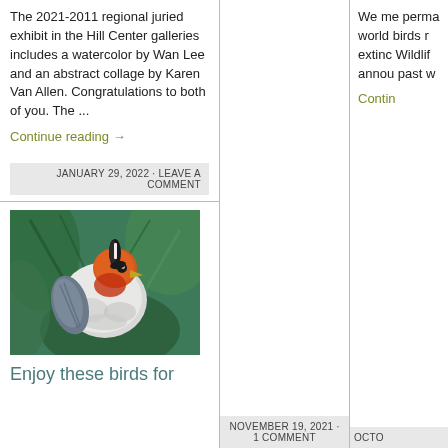The 2021-2011 regional juried exhibit in the Hill Center galleries includes a watercolor by Wan Lee and an abstract collage by Karen Van Allen. Congratulations to both of you. The ...
Continue reading →
JANUARY 29, 2022 · LEAVE A COMMENT
NOVEMBER 19, 2021 · 1 COMMENT
OCTO
[Figure (illustration): Painting of a colorful bird with orange-red head, black and white crest, surrounded by green foliage]
Enjoy these birds for
We me perma world birds r extinc Wildlif annou past w
Contin